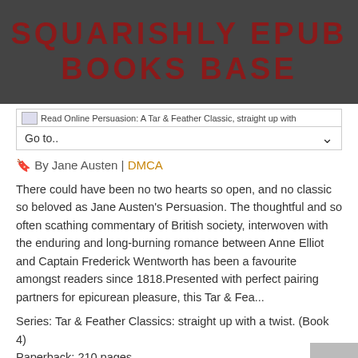SQUARISHLY EPUB BOOKS BASE
[Figure (screenshot): Navigation bar with book cover image placeholder and 'Read Online Persuasion: A Tar & Feather Classic, straight up with' text, with a 'Go to..' dropdown selector]
🔖 By Jane Austen | DMCA
There could have been no two hearts so open, and no classic so beloved as Jane Austen's Persuasion. The thoughtful and so often scathing commentary of British society, interwoven with the enduring and long-burning romance between Anne Elliot and Captain Frederick Wentworth has been a favourite amongst readers since 1818.Presented with perfect pairing partners for epicurean pleasure, this Tar & Fea...
Series: Tar & Feather Classics: straight up with a twist. (Book 4)
Paperback: 210 pages